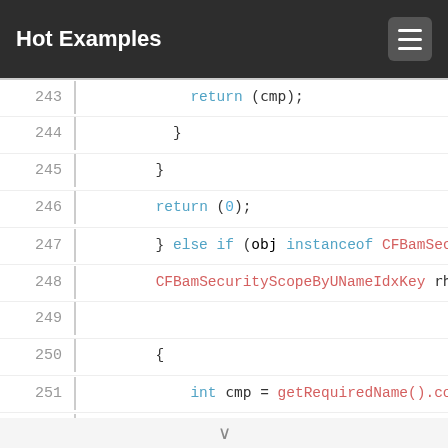Hot Examples
[Figure (screenshot): Code viewer showing Java source lines 243-259 with syntax highlighting. Keywords in blue-teal, class/function names in pink-red, literals in teal. Lines: 243: return (cmp); 244: } 245: } 246: return (0); 247: } else if (obj instanceof CFBamSecurity... 248: CFBamSecurityScopeByUNameIdxKey rhs = 249: (blank) 250: { 251: int cmp = getRequiredName().compare... 252: if (cmp != 0) { 253: return (cmp); 254: } 255: } 256: return (0); 257: } else { 258: throw CFLib.getDefaultExceptionFactor... 259: .newUnsupportedClassException(get...]